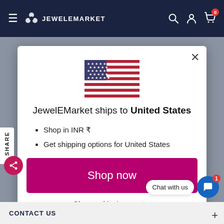JEWELEMARKET
[Figure (screenshot): US flag with stars and stripes]
JewelEMarket ships to United States
Shop in INR ₹
Get shipping options for United States
Shop now
Change shipping country
CONTACT US
Chat with us